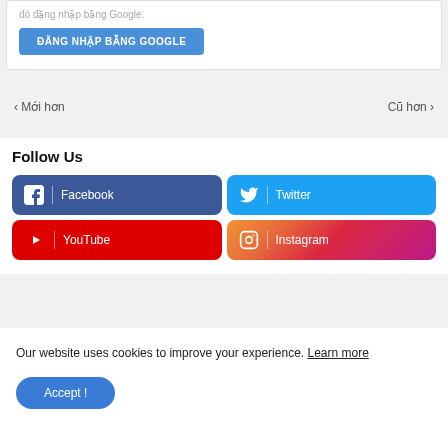đó đăng nhập bằng Google.
ĐĂNG NHẬP BẰNG GOOGLE
‹ Mới hơn
Cũ hơn ›
Follow Us
Facebook
Twitter
YouTube
Instagram
Our website uses cookies to improve your experience. Learn more
Accept !